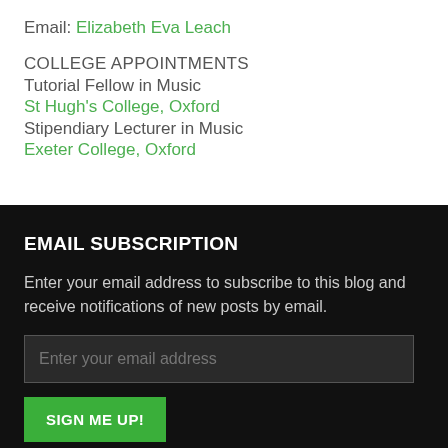Email: Elizabeth Eva Leach
COLLEGE APPOINTMENTS
Tutorial Fellow in Music
St Hugh's College, Oxford
Stipendiary Lecturer in Music
Exeter College, Oxford
EMAIL SUBSCRIPTION
Enter your email address to subscribe to this blog and receive notifications of new posts by email.
Enter your email address
SIGN ME UP!
Join 4,393 other followers